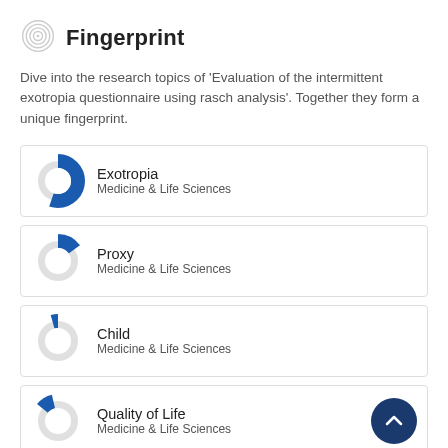Fingerprint
Dive into the research topics of 'Evaluation of the intermittent exotropia questionnaire using rasch analysis'. Together they form a unique fingerprint.
[Figure (donut-chart): Donut chart ~80% filled blue for Exotropia, Medicine & Life Sciences]
[Figure (donut-chart): Donut chart ~40% filled blue for Proxy, Medicine & Life Sciences]
[Figure (donut-chart): Donut chart ~20% filled blue for Child, Medicine & Life Sciences]
[Figure (donut-chart): Donut chart ~10% filled blue for Quality of Life, Medicine & Life Sciences]
[Figure (donut-chart): Donut chart small fill blue for Parents, Medicine & Life Sciences]